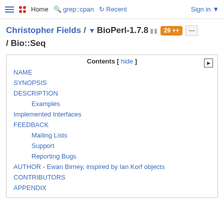Home  grep::cpan  Recent  Sign in
Christopher Fields / ▾ BioPerl-1.7.8 [29 ++] / Bio::Seq
Contents [ hide ]
NAME
SYNOPSIS
DESCRIPTION
Examples
Implemented Interfaces
FEEDBACK
Mailing Lists
Support
Reporting Bugs
AUTHOR - Ewan Birney, inspired by Ian Korf objects
CONTRIBUTORS
APPENDIX